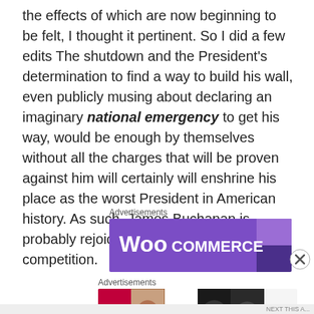the effects of which are now beginning to be felt, I thought it pertinent. So I did a few edits The shutdown and the President's determination to find a way to build his wall, even publicly musing about declaring an imaginary national emergency to get his way, would be enough by themselves without all the charges that will be proven against him will certainly will enshrine his place as the worst President in American history. As such, James Buchanan is probably rejoicing in his grave that he has competition.
Advertisements
[Figure (other): WooCommerce advertisement banner — purple background with WooCommerce logo in white text]
Advertisements
[Figure (other): ULTA Beauty advertisement banner — collage of makeup/beauty images with SHOP NOW call to action]